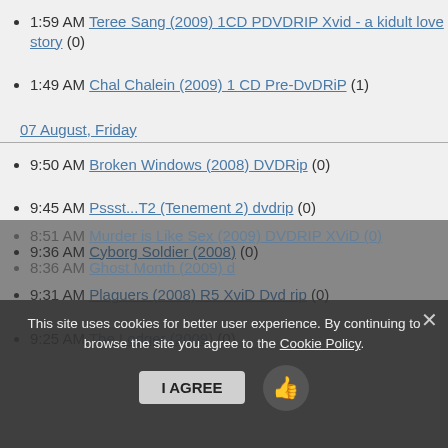1:59 AM Teree Sang (2009) 1CD PDVDRIP Xvid - a kidult love story (0)
1:49 AM Chal Chalein (2009) 1 CD Pre-DvDRiP (1)
07 August, Friday
9:50 AM Broken Windows (2008) DVDRip (0)
9:45 AM Pssst...T2 (Tenement 2) dvdrip (0)
9:36 AM Cyborg Soldier (2008) (0)
9:31 AM Plaguers (2008) R5 XviD Dvd rip (0)
9:25 AM The Lodger (2009) (0)
9:09 AM Jackie Chan's The Myth (2009) DVDRip (0)
8:59 AM Bruno (2009) (0)
8:51 AM Murder is Like Sex (2009) DVDRIP XviD (0)
8:36 AM Ghost Month (2009) d…
This site uses cookies for better user experience. By continuing to browse the site you agree to the Cookie Policy.